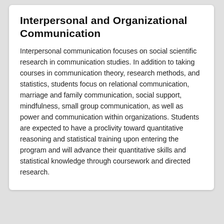Interpersonal and Organizational Communication
Interpersonal communication focuses on social scientific research in communication studies. In addition to taking courses in communication theory, research methods, and statistics, students focus on relational communication, marriage and family communication, social support, mindfulness, small group communication, as well as power and communication within organizations. Students are expected to have a proclivity toward quantitative reasoning and statistical training upon entering the program and will advance their quantitative skills and statistical knowledge through coursework and directed research.